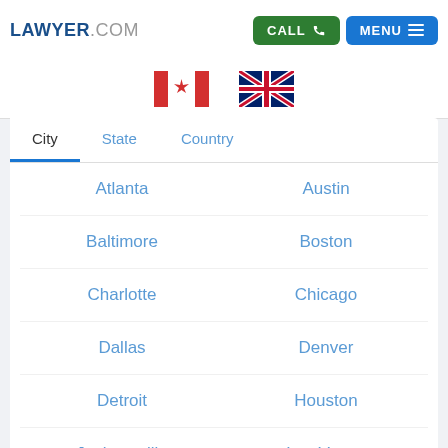LAWYER.COM | CALL | MENU
[Figure (illustration): Two flags partially visible: a red/white flag on the left and a UK Union Jack flag on the right]
City
State
Country
Atlanta
Austin
Baltimore
Boston
Charlotte
Chicago
Dallas
Denver
Detroit
Houston
Jacksonville
Las Vegas
Los Angeles
Memphis
Miami
New York